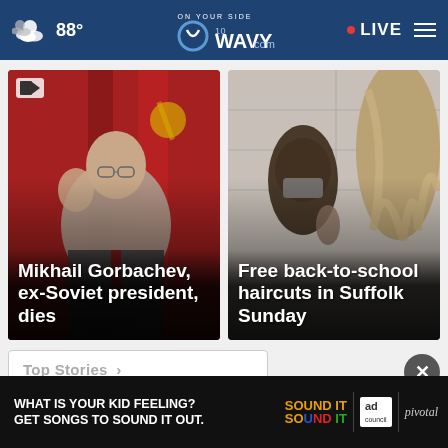88° WAVY.com ON YOUR SIDE • LIVE
[Figure (photo): Mikhail Gorbachev at a podium, raising his hand, in front of red Soviet flags with hammer and sickle emblems]
Mikhail Gorbachev, ex-Soviet president, dies
[Figure (photo): A hairstylist with a face mask working on a woman's long hair in what appears to be a school setting]
Free back-to-school haircuts in Suffolk Sunday
Top Stories ›
[Figure (other): Advertisement banner: WHAT IS YOUR KID FEELING? GET SONGS TO SOUND IT OUT. Sound It Out, Ad Council, pivotal]